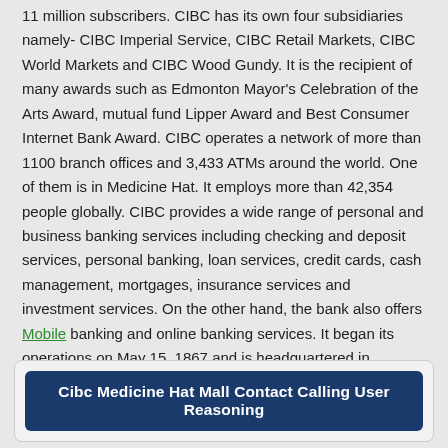11 million subscribers. CIBC has its own four subsidiaries namely- CIBC Imperial Service, CIBC Retail Markets, CIBC World Markets and CIBC Wood Gundy. It is the recipient of many awards such as Edmonton Mayor's Celebration of the Arts Award, mutual fund Lipper Award and Best Consumer Internet Bank Award. CIBC operates a network of more than 1100 branch offices and 3,433 ATMs around the world. One of them is in Medicine Hat. It employs more than 42,354 people globally. CIBC provides a wide range of personal and business banking services including checking and deposit services, personal banking, loan services, credit cards, cash management, mortgages, insurance services and investment services. On the other hand, the bank also offers Mobile banking and online banking services. It began its operations on May 15, 1867 and is headquartered in Commerce Court, Toronto, Ontario, Canada. Customer service hours:Monday to Thursday:10:00am to 04:00pm, Friday:10:00am to 05:00pm and Saturday:10:00am to 04:00pm. Fax Number:+1-403-526-8035.
Cibc Medicine Hat Mall Contact Calling User Reasoning